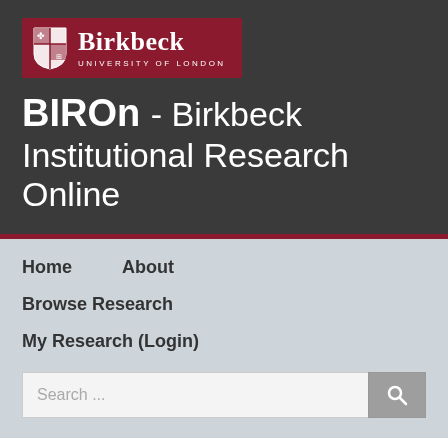[Figure (logo): Birkbeck University of London logo with shield and text on dark red background]
BIROn - Birkbeck Institutional Research Online
Home
About
Browse Research
My Research (Login)
Search ...
Social movement theory and